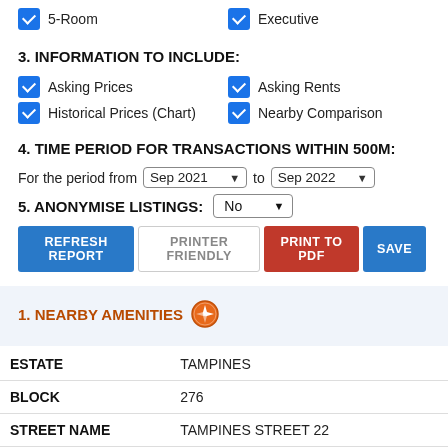5-Room (checked)
Executive (checked)
3. INFORMATION TO INCLUDE:
Asking Prices (checked)
Asking Rents (checked)
Historical Prices (Chart) (checked)
Nearby Comparison (checked)
4. TIME PERIOD FOR TRANSACTIONS WITHIN 500M:
For the period from Sep 2021 to Sep 2022
5. ANONYMISE LISTINGS:
No
REFRESH REPORT   PRINTER FRIENDLY   PRINT TO PDF   SAVE
1. NEARBY AMENITIES
| Field | Value |
| --- | --- |
| ESTATE | TAMPINES |
| BLOCK | 276 |
| STREET NAME | TAMPINES STREET 22 |
| POSTAL CODE | 520276 |